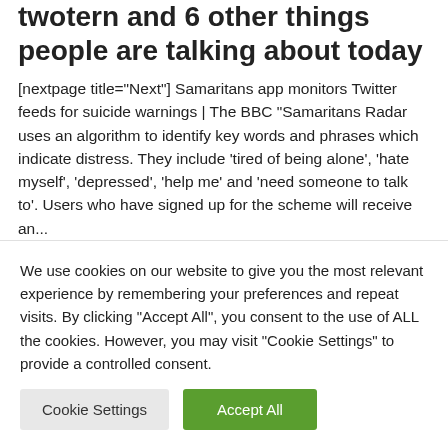twotern and 6 other things people are talking about today
[nextpage title="Next"] Samaritans app monitors Twitter feeds for suicide warnings | The BBC "Samaritans Radar uses an algorithm to identify key words and phrases which indicate distress. They include 'tired of being alone', 'hate myself', 'depressed', 'help me' and 'need someone to talk to'. Users who have signed up for the scheme will receive an...
29th October 2014   Stuart
Apple, Apps, Computers, Gaming, Google, Internet, iPad, Malware,
Nintendo, Twitter, Wii U
We use cookies on our website to give you the most relevant experience by remembering your preferences and repeat visits. By clicking "Accept All", you consent to the use of ALL the cookies. However, you may visit "Cookie Settings" to provide a controlled consent.